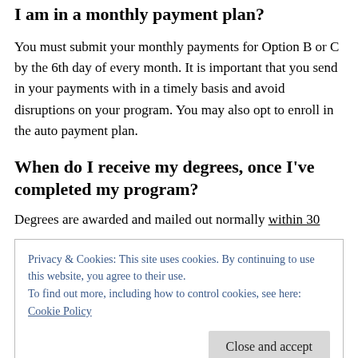I am in a monthly payment plan?
You must submit your monthly payments for Option B or C by the 6th day of every month. It is important that you send in your payments with in a timely basis and avoid disruptions on your program. You may also opt to enroll in the auto payment plan.
When do I receive my degrees, once I've completed my program?
Degrees are awarded and mailed out normally within 30
Privacy & Cookies: This site uses cookies. By continuing to use this website, you agree to their use.
To find out more, including how to control cookies, see here: Cookie Policy
in full, you can request that the first completed degree be